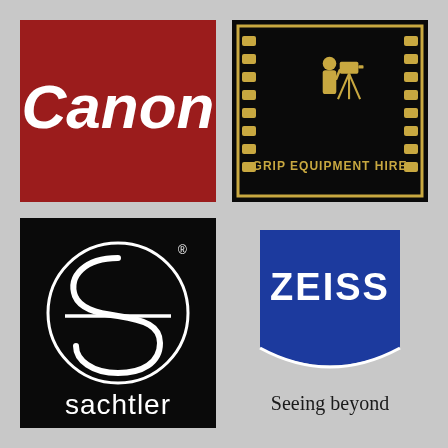[Figure (logo): Canon logo — white text on dark red/crimson background]
[Figure (logo): Grip Equipment Hire logo — gold film frame with cameraman on black background, text GRIP EQUIPMENT HIRE in gold]
[Figure (logo): Sachtler logo — white circular S emblem on black background with sachtler text below]
[Figure (logo): Zeiss logo — ZEISS text on blue badge with Seeing beyond tagline below on grey]